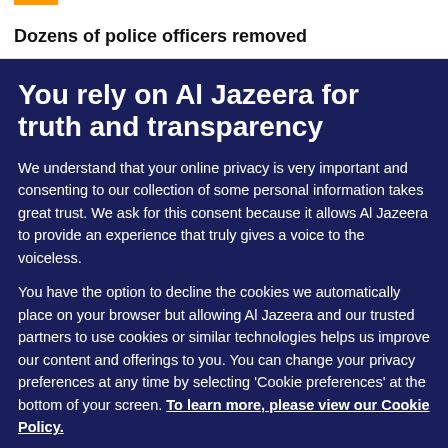Dozens of police officers removed
You rely on Al Jazeera for truth and transparency
We understand that your online privacy is very important and consenting to our collection of some personal information takes great trust. We ask for this consent because it allows Al Jazeera to provide an experience that truly gives a voice to the voiceless.
You have the option to decline the cookies we automatically place on your browser but allowing Al Jazeera and our trusted partners to use cookies or similar technologies helps us improve our content and offerings to you. You can change your privacy preferences at any time by selecting ‘Cookie preferences’ at the bottom of your screen. To learn more, please view our Cookie Policy.